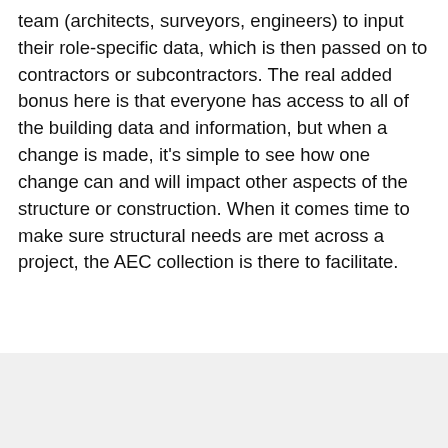team (architects, surveyors, engineers) to input their role-specific data, which is then passed on to contractors or subcontractors. The real added bonus here is that everyone has access to all of the building data and information, but when a change is made, it’s simple to see how one change can and will impact other aspects of the structure or construction. When it comes time to make sure structural needs are met across a project, the AEC collection is there to facilitate.
[Figure (screenshot): Chat widget popup with three avatar photos and the message 'Hello, how can I help you today?' with a close (x) button, and a teal chat bubble button in the bottom right corner.]